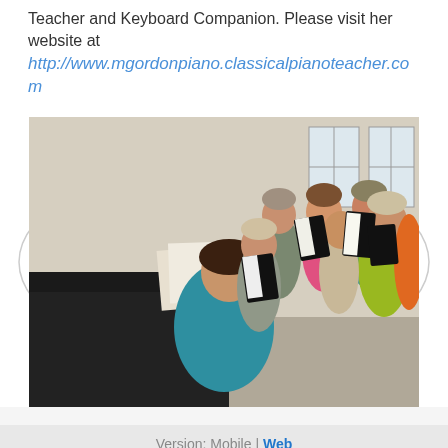Teacher and Keyboard Companion. Please visit her website at http://www.mgordonpiano.classicalpianoteacher.com
[Figure (photo): A woman in a teal sweater playing piano while a choir of women holding black binders sing behind her in a rehearsal room.]
Version: Mobile | Web
Created with Weebly
Get the App